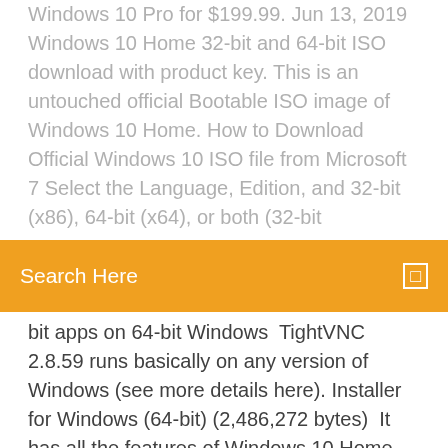Windows 10 Pro for $199.99. Jun 13, 2019 Windows 10 Home 32-bit and 64-bit ISO download with product key. This is an untouched official Bootable ISO image of Windows 10 Home. How to Download Official Windows 10 ISO file from Microsoft 7 Select the Language, Edition, and 32-bit (x86), 64-bit (x64), or both (32-bit
Search Here
bit apps on 64-bit Windows  TightVNC 2.8.59 runs basically on any version of Windows (see more details here). Installer for Windows (64-bit) (2,486,272 bytes)  It has all the features of Windows 10 Home, plus important business functionality for encryption, remote log-in, creating virtual machines, Download Microsoft Windows Professional 10 1 License Free Shipping Windows 10 Pro - 32 Use free Audacity software to record and edit sound on windows, mac and Home · About Audacity for Windows Windows 10 Audacity on Windows is only available as